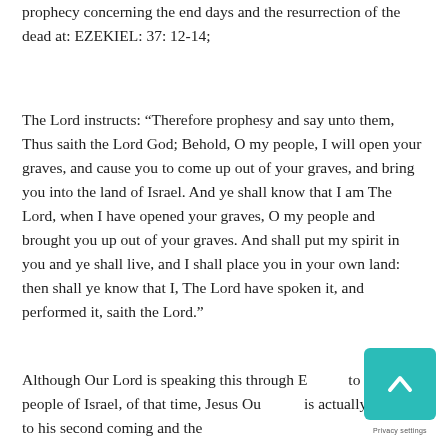prophecy concerning the end days and the resurrection of the dead at: EZEKIEL: 37: 12-14;
The Lord instructs: “Therefore prophesy and say unto them, Thus saith the Lord God; Behold, O my people, I will open your graves, and cause you to come up out of your graves, and bring you into the land of Israel. And ye shall know that I am The Lord, when I have opened your graves, O my people and brought you up out of your graves. And shall put my spirit in you and ye shall live, and I shall place you in your own land: then shall ye know that I, The Lord have spoken it, and performed it, saith the Lord.”
Although Our Lord is speaking this through Ezekiel to the people of Israel, of that time, Jesus Our Lord is actually referring to his second coming and the